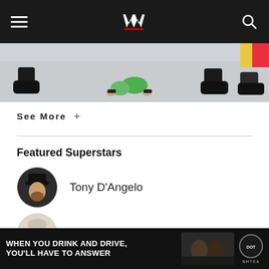WWE
[Figure (photo): A person crouched on a wrestling ring floor surrounded by people's feet and boots, with green objects visible]
See More +
Featured Superstars
Tony D'Angelo
Dexter Lumis
Carmelo Hayes
[Figure (infographic): Advertisement banner: WHEN YOU DRINK AND DRIVE, YOU'LL HAVE TO ANSWER — NHTSA]